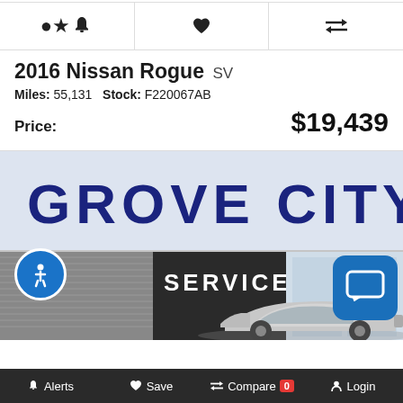[Figure (infographic): Icon bar with three icons: bell (alerts), heart (save), and compare arrows]
2016 Nissan Rogue SV
Miles: 55,131   Stock: F220067AB
Price: $19,439
[Figure (photo): Exterior photo of a 2016 Nissan Rogue parked in front of Grove City Service dealership building]
Alerts   Save   Compare 0   Login